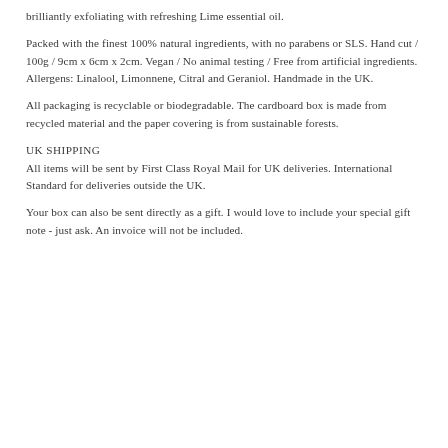brilliantly exfoliating with refreshing Lime essential oil.
Packed with the finest 100% natural ingredients, with no parabens or SLS. Hand cut / 100g / 9cm x 6cm x 2cm. Vegan / No animal testing / Free from artificial ingredients. Allergens: Linalool, Limonnene, Citral and Geraniol. Handmade in the UK.
All packaging is recyclable or biodegradable. The cardboard box is made from recycled material and the paper covering is from sustainable forests.
UK SHIPPING
All items will be sent by First Class Royal Mail for UK deliveries. International Standard for deliveries outside the UK.
Your box can also be sent directly as a gift. I would love to include your special gift note - just ask. An invoice will not be included.